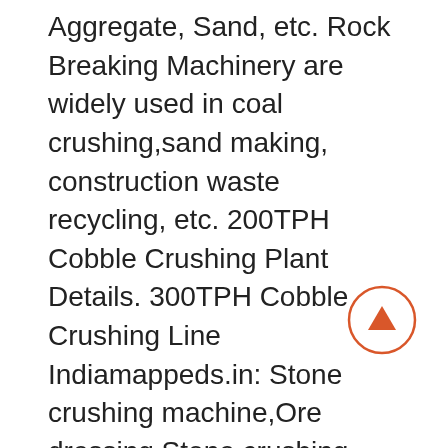Aggregate, Sand, etc. Rock Breaking Machinery are widely used in coal crushing,sand making, construction waste recycling, etc. 200TPH Cobble Crushing Plant Details. 300TPH Cobble Crushing Line Indiamappeds.in: Stone crushing machine,Ore dressing Stone crushing machine,Ore dressing machine,Powder making machine,Mobile crusherse Mining Machinery South Africa Titanium Mining Industry: Titanium Ore South Africa titanium ore mining industry mainly refers to the titanium ore crushing line. Depending on the material characteristics, SBM designs the whole titanium ore crushing line for clients. Stone Crusher Machine Cost Ore Crushing Plant Equipment Price; SBM flotation machine has a lead position in mineral ore dressing plants lime kiln equipmentries supplier in germanyname of crusher plant in kenya. crusher machine for Buy Used Quarry Crushing Machine In Kenya In the rock quarry plant of Kenya, stone crusher is the main. 1; Marble Processing Plant. tentative cost of setting up a stone
[Figure (other): A circular scroll-to-top button with an orange/red border and an upward-pointing arrow icon in the center.]